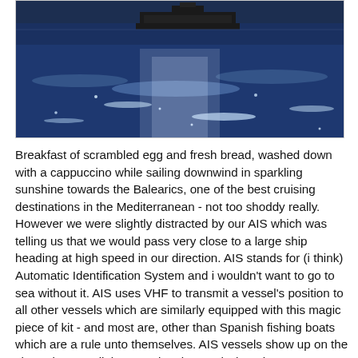[Figure (photo): A large cruise ship or cargo vessel silhouetted on a sparkling blue sea under bright sunlight, viewed from water level. The sea surface glitters with reflected sunlight.]
Breakfast of scrambled egg and fresh bread, washed down with a cappuccino while sailing downwind in sparkling sunshine towards the Balearics, one of the best cruising destinations in the Mediterranean - not too shoddy really. However we were slightly distracted by our AIS which was telling us that we would pass very close to a large ship heading at high speed in our direction. AIS stands for (i think) Automatic Identification System and i wouldn't want to go to sea without it. AIS uses VHF to transmit a vessel's position to all other vessels which are similarly equipped with this magic piece of kit - and most are, other than Spanish fishing boats which are a rule unto themselves. AIS vessels show up on the chart plotter as little grey triangles, and when they get too